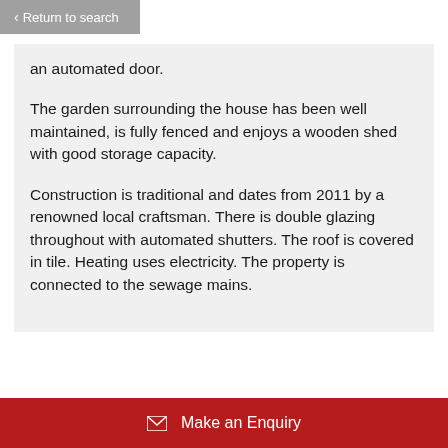< Return to search
an automated door.
The garden surrounding the house has been well maintained, is fully fenced and enjoys a wooden shed with good storage capacity.
Construction is traditional and dates from 2011 by a renowned local craftsman. There is double glazing throughout with automated shutters. The roof is covered in tile. Heating uses electricity. The property is connected to the sewage mains.
Make an Enquiry